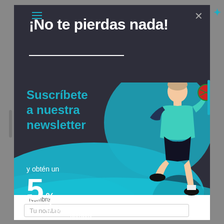¡No te pierdas nada!
Suscríbete a nuestra newsletter
y obtén un 5% dto. para tu próxima compra
Nombre
Tu nombre